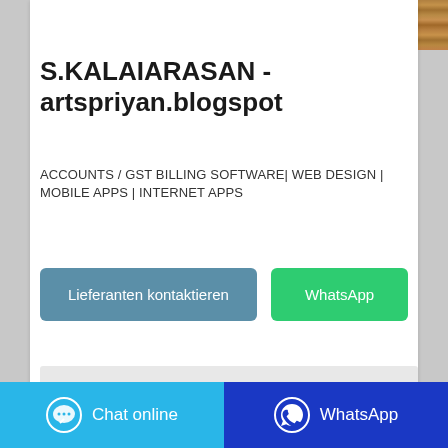[Figure (photo): Wood texture banner image with gray bar on right]
S.KALAIARASAN - artspriyan.blogspot
ACCOUNTS / GST BILLING SOFTWARE| WEB DESIGN | MOBILE APPS | INTERNET APPS
[Figure (other): Lieferanten kontaktieren button and WhatsApp button]
[Figure (other): Gray input area]
[Figure (other): Bottom bar with Chat online (blue) and WhatsApp (dark blue) buttons]